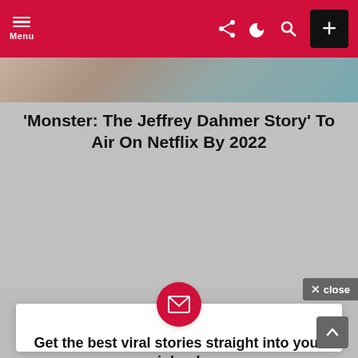Menu
[Figure (photo): Hero image strip showing a partial face/scene]
'Monster: The Jeffrey Dahmer Story' To Air On Netflix By 2022
Get the best viral stories straight into your inbox!
Email address:
Your email address
SIGN UP
Don't worry, we don't spam
× close